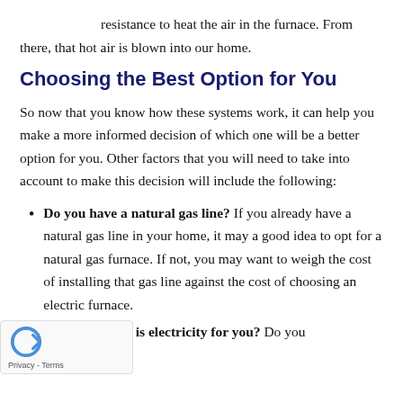resistance to heat the air in the furnace. From there, that hot air is blown into our home.
Choosing the Best Option for You
So now that you know how these systems work, it can help you make a more informed decision of which one will be a better option for you. Other factors that you will need to take into account to make this decision will include the following:
Do you have a natural gas line? If you already have a natural gas line in your home, it may a good idea to opt for a natural gas furnace. If not, you may want to weigh the cost of installing that gas line against the cost of choosing an electric furnace.
How expensive is electricity for you? Do you